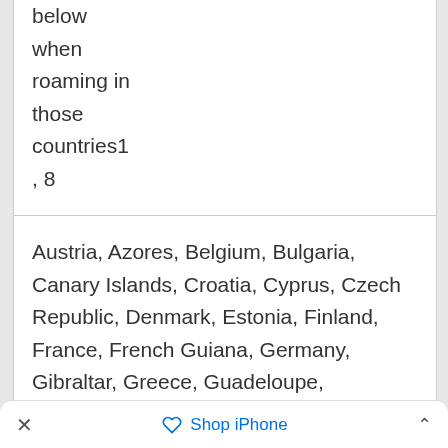below when roaming in those countries1 , 8
Austria, Azores, Belgium, Bulgaria, Canary Islands, Croatia, Cyprus, Czech Republic, Denmark, Estonia, Finland, France, French Guiana, Germany, Gibraltar, Greece, Guadeloupe, Guernsey, Hungary, Iceland, Ireland, Isle of Man, Italy, Jersey, Latvia, Liechtenstein, Lithuania, Luxembourg, Madeira, Malta, Martinique, Monaco, Netherlands, Norway, Poland, Portugal, Reunion Islands, Romania, Saint Barthelemy, Saint Martin (French), San Marino, Slovakia, Slovenia, Spain,
× Shop iPhone ^